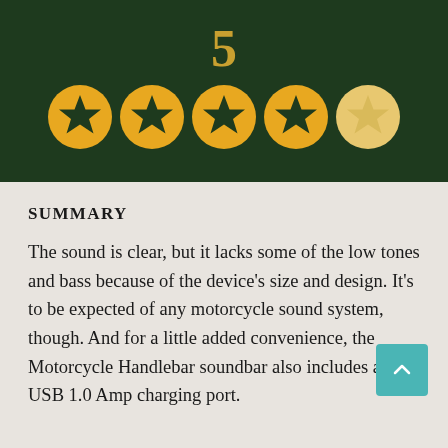[Figure (other): Dark green header with rating number 5 (partially visible at top) and five star rating circles: four full golden stars and one half/empty golden star on dark green background]
SUMMARY
The sound is clear, but it lacks some of the low tones and bass because of the device's size and design. It's to be expected of any motorcycle sound system, though. And for a little added convenience, the Motorcycle Handlebar soundbar also includes a USB 1.0 Amp charging port.